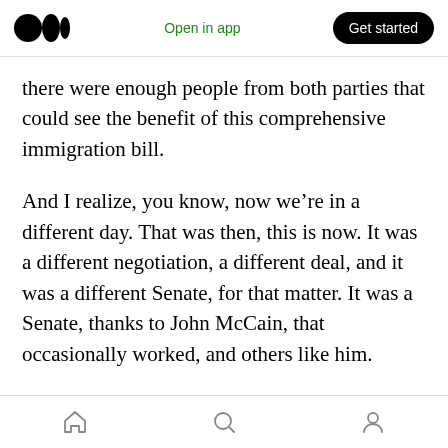Medium logo | Open in app | Get started
there were enough people from both parties that could see the benefit of this comprehensive immigration bill.
And I realize, you know, now we’re in a different day. That was then, this is now. It was a different negotiation, a different deal, and it was a different Senate, for that matter. It was a Senate, thanks to John McCain, that occasionally worked, and others like him.
I think that we have got to figure out a way to get past this log jam and toward a solution where we
Home | Search | Profile